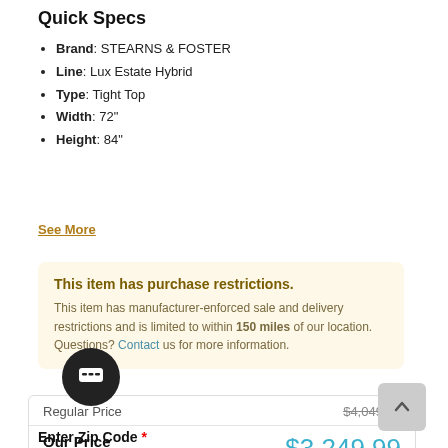Quick Specs
Brand: STEARNS & FOSTER
Line: Lux Estate Hybrid
Type: Tight Top
Width: 72"
Height: 84"
See More
This item has purchase restrictions. This item has manufacturer-enforced sale and delivery restrictions and is limited to within 150 miles of our location. Questions? Contact us for more information.
|  |  |
| --- | --- |
| Regular Price | $4,049.99 |
| Our Price | $3,249.99 |
|  | $800 |
Enter Zip Code *